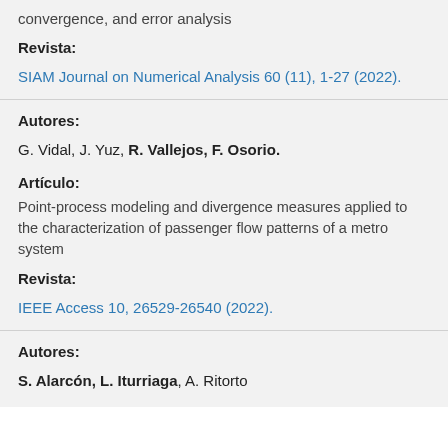convergence, and error analysis
Revista:
SIAM Journal on Numerical Analysis 60 (11), 1-27 (2022).
Autores:
G. Vidal, J. Yuz, R. Vallejos, F. Osorio.
Artículo:
Point-process modeling and divergence measures applied to the characterization of passenger flow patterns of a metro system
Revista:
IEEE Access 10, 26529-26540 (2022).
Autores:
S. Alarcón, L. Iturriaga, A. Ritorto